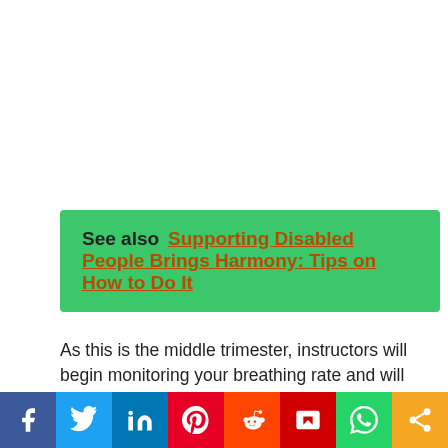See also  Supporting Disabled People Brings Harmony: Tips on How to Do It
As this is the middle trimester, instructors will begin monitoring your breathing rate and will advise you exercises accordingly. If a woman hasn't been much active before this, she might feel light-headed or nauseated. It isn't worrisome as some diet changes and breaks between exercises will be consulted to her. Now, this is the part where most precautions are needed, as, during the third trimester, a woman's joints are loose, and breathing usually gets heavier. Even the weight of the fetus starts